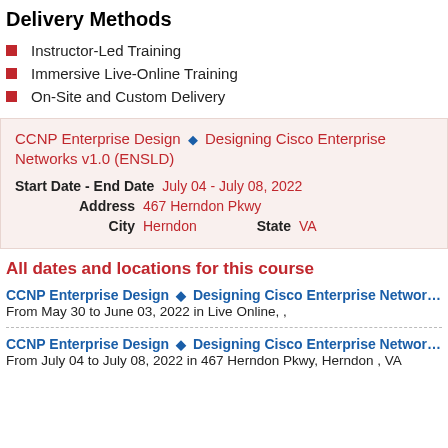Delivery Methods
Instructor-Led Training
Immersive Live-Online Training
On-Site and Custom Delivery
CCNP Enterprise Design ◆ Designing Cisco Enterprise Networks v1.0 (ENSLD)
Start Date - End Date   July 04 - July 08, 2022
Address   467 Herndon Pkwy
City   Herndon   State   VA
All dates and locations for this course
CCNP Enterprise Design ◆ Designing Cisco Enterprise Networks v1.0 (E...
From May 30 to June 03, 2022 in Live Online, ,
CCNP Enterprise Design ◆ Designing Cisco Enterprise Networks v1.0 (E...
From July 04 to July 08, 2022 in 467 Herndon Pkwy, Herndon , VA